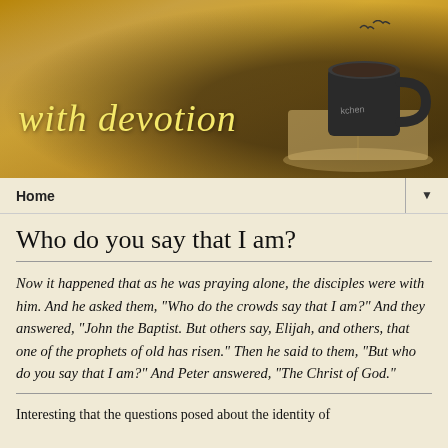[Figure (photo): Warm sepia-toned banner image showing a coffee mug on an open book with birds in the background. Cursive script text 'with devotion' appears in yellow-gold over the image.]
with devotion
Home ▼
Who do you say that I am?
Now it happened that as he was praying alone, the disciples were with him. And he asked them, “Who do the crowds say that I am?” And they answered, “John the Baptist. But others say, Elijah, and others, that one of the prophets of old has risen.” Then he said to them, “But who do you say that I am?” And Peter answered, “The Christ of God.”
Interesting that the questions posed about the identity of